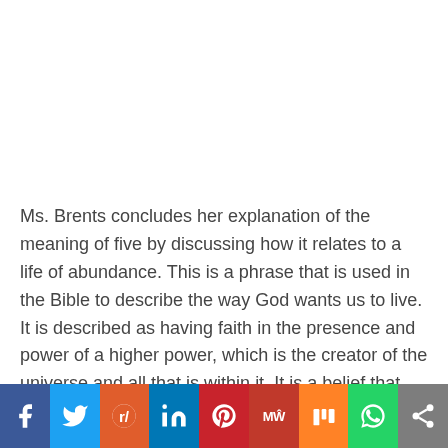Ms. Brents concludes her explanation of the meaning of five by discussing how it relates to a life of abundance. This is a phrase that is used in the Bible to describe the way God wants us to live. It is described as having faith in the presence and power of a higher power, which is the creator of the universe and all that is within it. It is a belief that there are more than enough good, beauty, and
[Figure (infographic): Social media sharing bar with icons for Facebook, Twitter, Reddit, LinkedIn, Pinterest, MeWe, Mix, WhatsApp, and a share button]